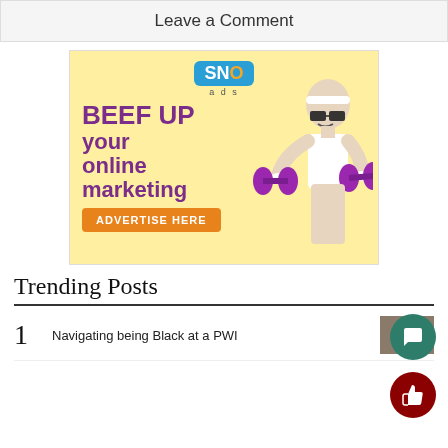Leave a Comment
[Figure (infographic): SNO ads advertisement: 'BEEF UP your online marketing – ADVERTISE HERE' with a person holding purple dumbbells on a yellow background]
Trending Posts
1  Navigating being Black at a PWI